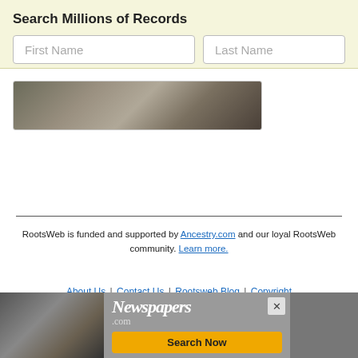Search Millions of Records
First Name
Last Name
[Figure (photo): Partial view of a historical photograph, showing muted sepia tones]
RootsWeb is funded and supported by Ancestry.com and our loyal RootsWeb community. Learn more.
About Us | Contact Us | Rootsweb Blog | Copyright
© 1997-2022 Ancestry  Corporate Information  Privacy  Terms and Conditions  CCPA Notice at Collection
[Figure (screenshot): Advertisement banner for Newspapers.com with Search Now button]